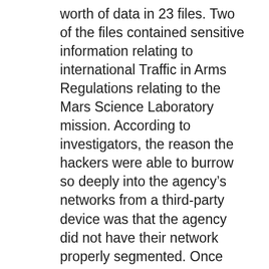worth of data in 23 files. Two of the files contained sensitive information relating to international Traffic in Arms Regulations relating to the Mars Science Laboratory mission. According to investigators, the reason the hackers were able to burrow so deeply into the agency's networks from a third-party device was that the agency did not have their network properly segmented. Once the hackers gained access, they could go pretty much anywhere they wanted. “We also found that security problem log tickets, created in the TISB when a potential or actual IT system security vulnerability is identified, were not resolved for extended periods of time – sometimes longer than 18 days.” The investigators from the OIG said. Late last year, the US Department of Justice